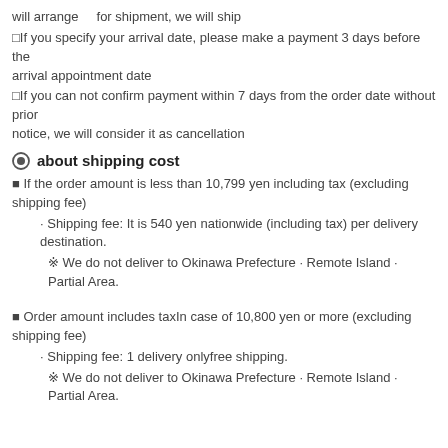will arrange    for shipment, we will ship
□If you specify your arrival date, please make a payment 3 days before the arrival appointment date
□If you can not confirm payment within 7 days from the order date without prior notice, we will consider it as cancellation
about shipping cost
■ If the order amount is less than 10,799 yen including tax (excluding shipping fee)
· Shipping fee: It is 540 yen nationwide (including tax) per delivery destination.
※ We do not deliver to Okinawa Prefecture · Remote Island · Partial Area.
■ Order amount includes taxIn case of 10,800 yen or more (excluding shipping fee)
· Shipping fee: 1 delivery onlyfree shipping.
※ We do not deliver to Okinawa Prefecture · Remote Island · Partial Area.